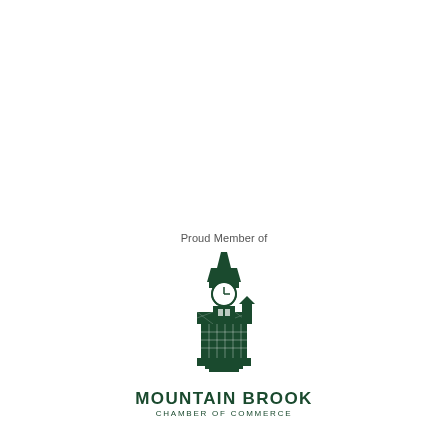Proud Member of
[Figure (logo): Mountain Brook Chamber of Commerce clock tower building logo in dark green]
MOUNTAIN BROOK
CHAMBER OF COMMERCE